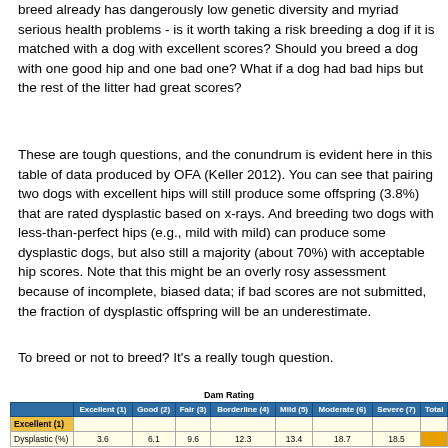breed already has dangerously low genetic diversity and myriad serious health problems - is it worth taking a risk breeding a dog if it is matched with a dog with excellent scores? Should you breed a dog with one good hip and one bad one? What if a dog had bad hips but the rest of the litter had great scores?
These are tough questions, and the conundrum is evident here in this table of data produced by OFA (Keller 2012). You can see that pairing two dogs with excellent hips will still produce some offspring (3.8%) that are rated dysplastic based on x-rays. And breeding two dogs with less-than-perfect hips (e.g., mild with mild) can produce some dysplastic dogs, but also still a majority (about 70%) with acceptable hip scores. Note that this might be an overly rosy assessment because of incomplete, biased data; if bad scores are not submitted, the fraction of dysplastic offspring will be an underestimate.
To breed or not to breed? It's a really tough question.
|  | Excellent (1) | Good (2) | Fair (3) | Borderline (4) | Mild (5) | Moderate (6) | Severe (7) | Total |
| --- | --- | --- | --- | --- | --- | --- | --- | --- |
| Excellent (1) |  |  |  |  |  |  |  |  |
| Dysplastic (%) | 3.6 | 6.1 | 9.6 | 12.3 | 13.4 | 18.7 | 18.5 |  |